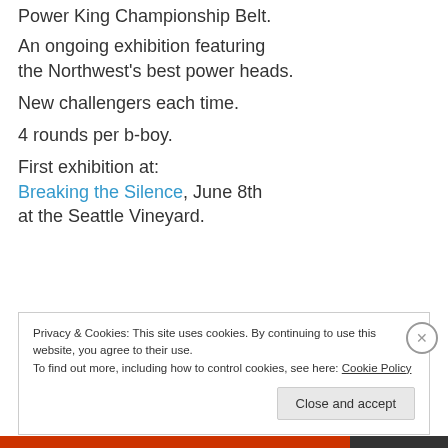Power King Championship Belt.
An ongoing exhibition featuring the Northwest's best power heads.
New challengers each time.
4 rounds per b-boy.
First exhibition at: Breaking the Silence, June 8th at the Seattle Vineyard.
Privacy & Cookies: This site uses cookies. By continuing to use this website, you agree to their use. To find out more, including how to control cookies, see here: Cookie Policy
Close and accept